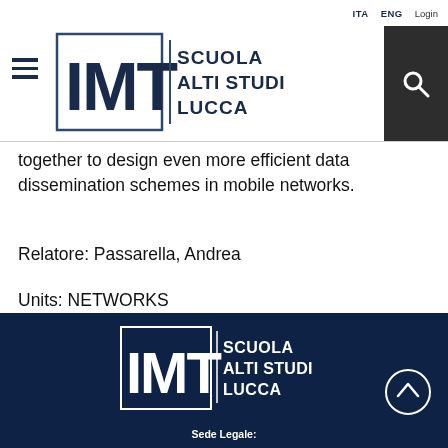ITA  ENG  Login
[Figure (logo): IMT Scuola Alti Studi Lucca logo in header]
together to design even more efficient data dissemination schemes in mobile networks.
Relatore: Passarella, Andrea
Units: NETWORKS
[Figure (logo): IMT Scuola Alti Studi Lucca logo in footer (white version)]
Sede Legale: